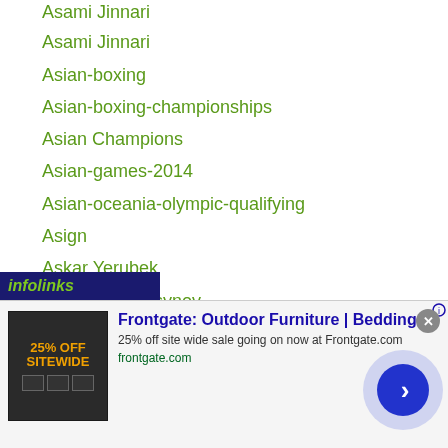Asami Jinnari
Asian-boxing
Asian-boxing-championships
Asian Champions
Asian-games-2014
Asian-oceania-olympic-qualifying
Asign
Askar Yerubek
Askat Zhantursynov
Askhat Ualikhanov
Aslan Mukanov
Aso Ishiwaki
Astana Arlans
Aston Palicte
Atchariya Wirojanasunobol
...eight
[Figure (screenshot): Infolinks ad bar and Frontgate outdoor furniture advertisement banner at bottom of page]